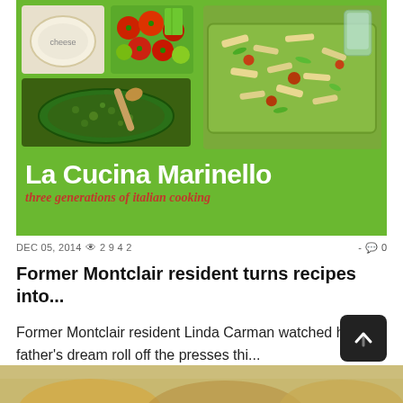[Figure (photo): Book cover for 'La Cucina Marinello – three generations of italian cooking' showing food photos: tomatoes, pesto sauce, cheese, and pasta dish on a green background]
DEC 05, 2014 👁 2942  - 💬 0
Former Montclair resident turns recipes into...
Former Montclair resident Linda Carman watched her father's dream roll off the presses thi...
[Figure (photo): Partial image of food at the bottom of the page]